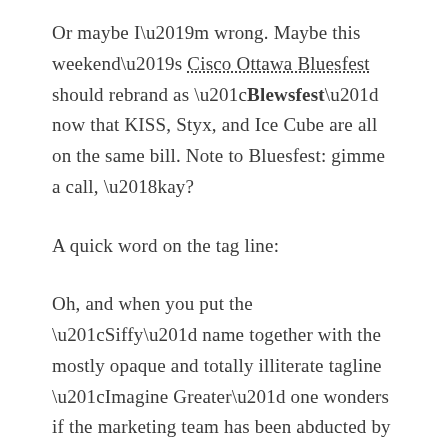Or maybe I'm wrong. Maybe this weekend's Cisco Ottawa Bluesfest should rebrand as "Blewsfest" now that KISS, Styx, and Ice Cube are all on the same bill. Note to Bluesfest: gimme a call, 'kay?
A quick word on the tag line:
Oh, and when you put the “Siffy” name together with the mostly opaque and totally illiterate tagline “Imagine Greater” one wonders if the marketing team has been abducted by aliens (and not by the smart ones).